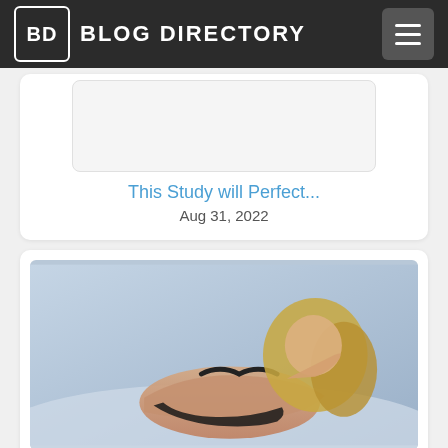BD BLOG DIRECTORY
[Figure (other): Placeholder image with rounded rectangle outline on light background]
This Study will Perfect...
Aug 31, 2022
[Figure (photo): Woman in black lingerie posing on a bed]
Female Escort in Toront...
Aug 30, 2022